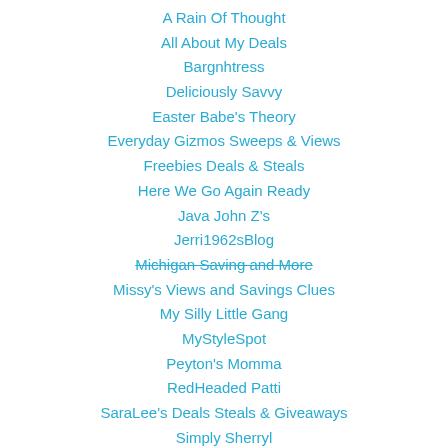A Rain Of Thought
All About My Deals
Bargnhtress
Deliciously Savvy
Easter Babe's Theory
Everyday Gizmos Sweeps & Views
Freebies Deals & Steals
Here We Go Again Ready
Java John Z's
Jerri1962sBlog
Michigan Saving and More (strikethrough)
Missy's Views and Savings Clues
My Silly Little Gang
MyStyleSpot
Peyton's Momma
RedHeaded Patti
SaraLee's Deals Steals & Giveaways
Simply Sherryl
Sweet Southern Savings
Tales From A Southern Mom
The Homespun Chics
Welcome To My Kitchen